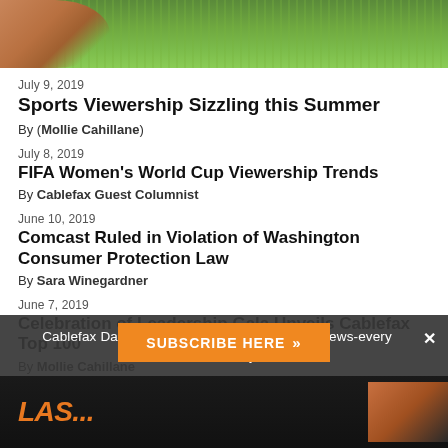[Figure (photo): Top portion of a grass/turf field with what appears to be a hand or arm at the left, green grass background]
July 9, 2019
Sports Viewership Sizzling this Summer
By (Mollie Cahillane)
July 8, 2019
FIFA Women's World Cup Viewership Trends
By Cablefax Guest Columnist
June 10, 2019
Comcast Ruled in Violation of Washington Consumer Protection Law
By Sara Winegardner
June 7, 2019
Celebration of Leadership Gala Unveils Cablefax Top 100
By Mollie Cahillane
Cablefax Daily readers get exclusive industry news-every business day.
SUBSCRIBE HERE »
[Figure (photo): Dark background with orange/amber colored text or graphic elements]